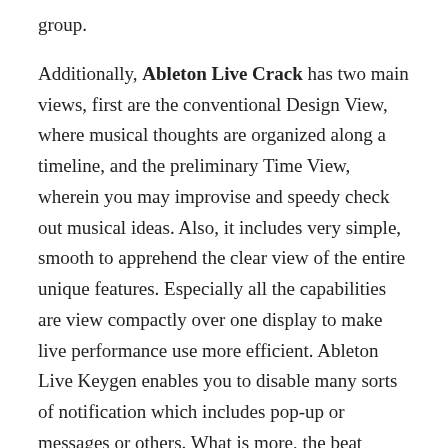group.
Additionally, Ableton Live Crack has two main views, first are the conventional Design View, where musical thoughts are organized along a timeline, and the preliminary Time View, wherein you may improvise and speedy check out musical ideas. Also, it includes very simple, smooth to apprehend the clear view of the entire unique features. Especially all the capabilities are view compactly over one display to make live performance use more efficient. Ableton Live Keygen enables you to disable many sorts of notification which includes pop-up or messages or others. What is more, the beat matching, crossfading in adding to turntables will become indeed one of maximum desirable software for all music lovers.
The latest reducing functions and the drum layout might be attainable on the primary model of push too. Later